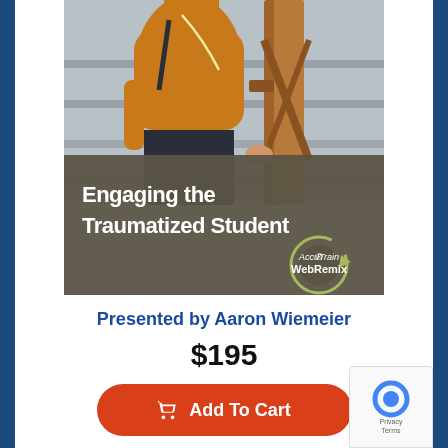[Figure (photo): Book/course cover for 'Engaging the Traumatized Student' by AccuTrain WebRemix. Shows a student in an orange/mustard sweater walking up stairs holding a railing. Dark brownish-grey overlay at bottom with white bold text 'Engaging the Traumatized Student' and AccuTrain WebRemix logo in the lower right.]
Presented by Aaron Wiemeier
$195
Add To Cart